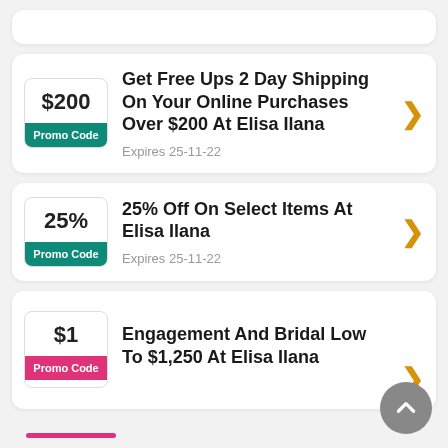Get Free Ups 2 Day Shipping On Your Online Purchases Over $200 At Elisa Ilana — Promo Code — $200 — Expires 25-11-22
25% Off On Select Items At Elisa Ilana — Promo Code — 25% — Expires 25-11-22
Engagement And Bridal Low To $1,250 At Elisa Ilana — $1 — Promo Code